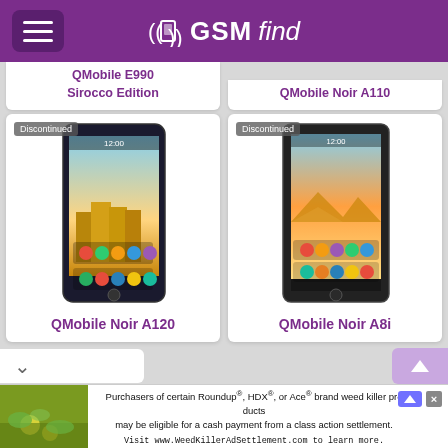GSMfind
QMobile E990 Sirocco Edition
QMobile Noir A110
[Figure (photo): QMobile Noir A120 smartphone front view with Android home screen showing 12:00 time and scenic castle background, with Discontinued badge]
QMobile Noir A120
[Figure (photo): QMobile Noir A8i smartphone front view with Android home screen showing 12:00 time and sunset background, with Discontinued badge]
QMobile Noir A8i
Purchasers of certain Roundup®, HDX®, or Ace® brand weed killer products may be eligible for a cash payment from a class action settlement. Visit www.WeedKillerAdSettlement.com to learn more.